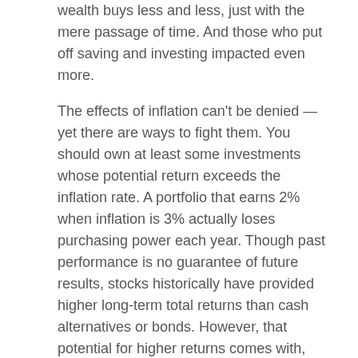wealth buys less and less, just with the mere passage of time. And those who put off saving and investing impacted even more.
The effects of inflation can't be denied — yet there are ways to fight them. You should own at least some investments whose potential return exceeds the inflation rate. A portfolio that earns 2% when inflation is 3% actually loses purchasing power each year. Though past performance is no guarantee of future results, stocks historically have provided higher long-term total returns than cash alternatives or bonds. However, that potential for higher returns comes with, greater risk of volatility and potential for loss. You can lose part or all of the money you invest in a stock. Because of that volatility, stock investments may not be appropriate for money you count on to be available in the short term. You'll need to think about whether you have the financial and emotional ability to ride out those ups and downs...